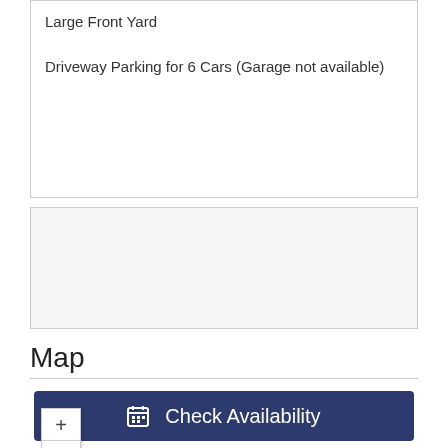Large Front Yard
Driveway Parking for 6 Cars (Garage not available)
[Figure (other): Empty light grey box (second content box)]
Map
[Figure (map): Street map showing roads including US 31 highway, route 22, a yellow road, pink highway, blue water area in the left portion, with zoom +/- controls on the left side.]
[Figure (other): Check Availability button with calendar icon, dark navy blue background, white text]